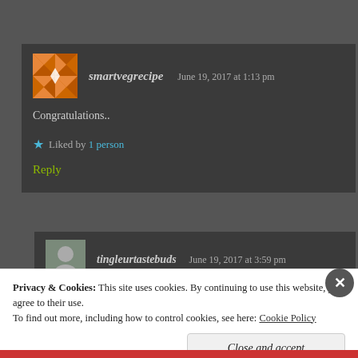smartvegrecipe   June 19, 2017 at 1:13 pm
Congratulations..
Liked by 1 person
Reply
tingleurtastebuds   June 19, 2017 at 3:59 pm
Privacy & Cookies: This site uses cookies. By continuing to use this website, you agree to their use.
To find out more, including how to control cookies, see here: Cookie Policy
Close and accept